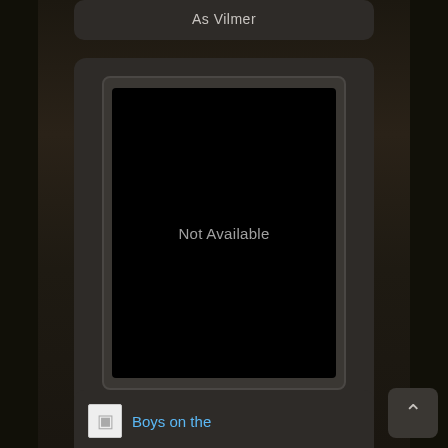As Vilmer
[Figure (other): Movie poster placeholder showing 'Not Available' text on black background]
Submission (1995)
Boys on the